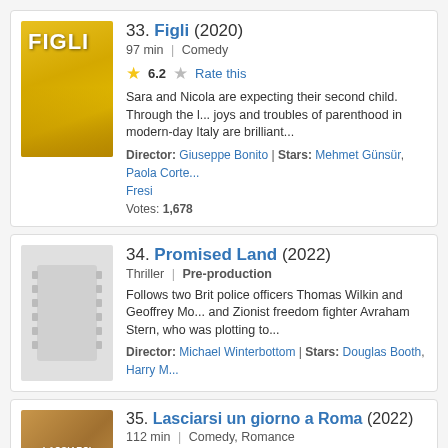[Figure (illustration): Movie poster for Figli (2020) - yellow background with running figures]
33. Figli (2020)
97 min | Comedy
6.2 Rate this
Sara and Nicola are expecting their second child. Through the l... joys and troubles of parenthood in modern-day Italy are brilliant...
Director: Giuseppe Bonito | Stars: Mehmet Günsür, Paola Corte... Fresi
Votes: 1,678
[Figure (illustration): Placeholder film strip image for Promised Land (2022)]
34. Promised Land (2022)
Thriller | Pre-production
Follows two Brit police officers Thomas Wilkin and Geoffrey Mo... and Zionist freedom fighter Avraham Stern, who was plotting to...
Director: Michael Winterbottom | Stars: Douglas Booth, Harry M...
[Figure (illustration): Movie poster for Lasciarsi un giorno a Roma (2022) - warm toned romantic poster]
35. Lasciarsi un giorno a Roma (2022)
112 min | Comedy, Romance
6.4 Rate this